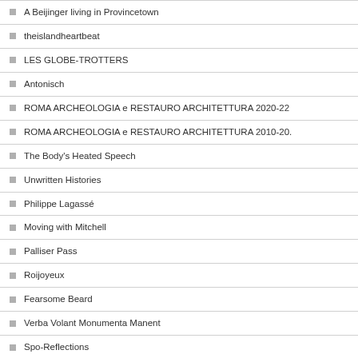A Beijinger living in Provincetown
theislandheartbeat
LES GLOBE-TROTTERS
Antonisch
ROMA ARCHEOLOGIA e RESTAURO ARCHITETTURA 2020-22
ROMA ARCHEOLOGIA e RESTAURO ARCHITETTURA 2010-20.
The Body's Heated Speech
Unwritten Histories
Philippe Lagassé
Moving with Mitchell
Palliser Pass
Roijoyeux
Fearsome Beard
Verba Volant Monumenta Manent
Spo-Reflections